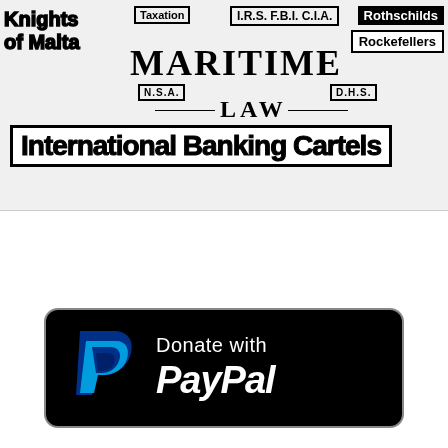[Figure (infographic): Conspiracy/sovereignty infographic showing text labels: Knights of Malta, Taxation, I.R.S. F.B.I. C.I.A., Rothschilds, Rockefellers, MARITIME LAW, N.S.A., D.H.S., International Banking Cartels arranged in overlapping black and white text blocks on light background.]
[Figure (logo): Donate with PayPal button: black rounded rectangle with PayPal logo (blue P icon) on the left and white text 'Donate with PayPal' on the right.]